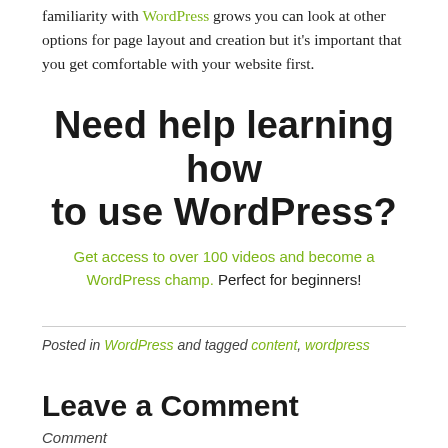familiarity with WordPress grows you can look at other options for page layout and creation but it's important that you get comfortable with your website first.
Need help learning how to use WordPress?
Get access to over 100 videos and become a WordPress champ. Perfect for beginners!
Posted in WordPress and tagged content, wordpress
Leave a Comment
Comment